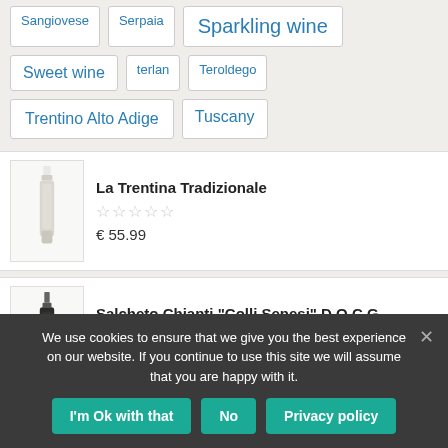Sangiovese
Serpaia
Sparkling wine
Sweet wine
terlan
Teroldego
Trentino Alto Adige
Tuscany
La Trentina Tradizionale
€ 55.99
Salcheto Chianti "Colli Senesi" D.O.C.G.
€ 17.90
We use cookies to ensure that we give you the best experience on our website. If you continue to use this site we will assume that you are happy with it.